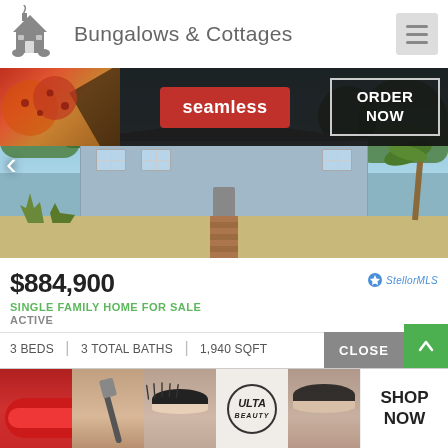Bungalows & Cottages
[Figure (photo): Exterior photo of a light blue single-family bungalow home in Tampa, FL with xeriscaped front yard featuring palms and desert plants. A Seamless food delivery advertisement overlay is visible at the top of the image.]
$884,900
SINGLE FAMILY HOME FOR SALE
ACTIVE
3 BEDS  |  3 TOTAL BATHS  |  1,940 SQFT
113 S Lincoln Avenue
Tampa, FL 33609
Southern
[Figure (advertisement): ULTA Beauty advertisement banner at the bottom showing faces with makeup and ULTA logo with SHOP NOW call to action]